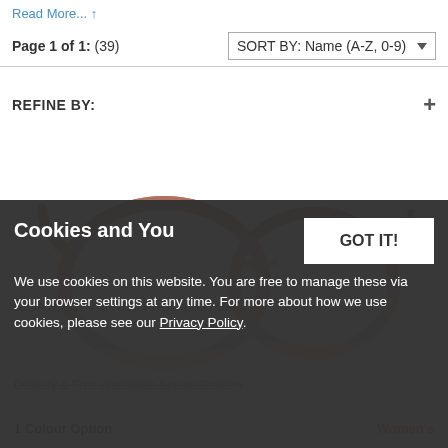Read More... ↑
Page 1 of 1:  (39)
SORT BY:  Name (A-Z, 0-9)
REFINE BY:
[Figure (photo): Product photo of Nina Ricci VNR 017 Prescription Glasses — brown/nude gradient cat-eye frame shown at an angle]
NINA RICCI VNR 017 Prescription Gla...
Delivery & Free Worldwide Secure Delivery
1 Colour Option
Women's
Cookies and You
We use cookies on this website. You are free to manage these via your browser settings at any time. For more about how we use cookies, please see our Privacy Policy.
GOT IT!